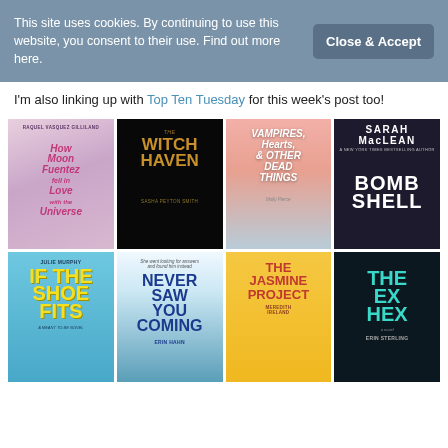This site uses cookies. By continuing to use this website, you consent to their use. Find out more here.
Close & Accept
I'm also linking up with Top Ten Tuesday for this week's post too!
[Figure (illustration): Grid of 8 book covers: Row 1: How Moon Fuentez Fell in Love with the Universe by Raquel Vasquez Gilliland, The Witch Haven by Sasha Peyton Smith, Vampires Hearts & Other Dead Things by Molly Pierce, Bombshell by Sarah MacLean. Row 2: If the Shoe Fits by Julie Murphy, Never Saw You Coming by Erin Hahn, The Jasmine Project by Meredith Ireland, The Ex Hex by Erin Sterling.]